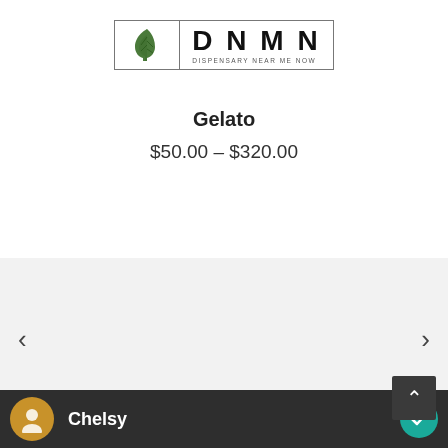[Figure (logo): DNMN Dispensary Near Me Now logo with cannabis leaf icon]
Gelato
$50.00 – $320.00
[Figure (other): Carousel navigation section with left and right arrows on gray background]
Chelsy